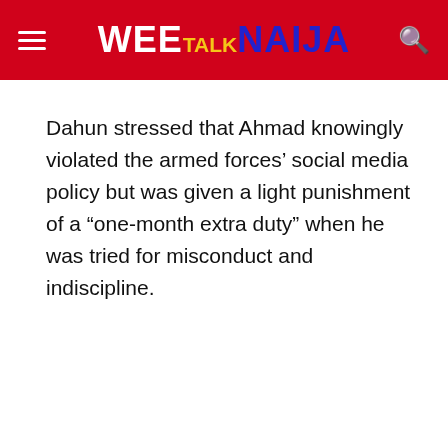WEE TALK NAIJA
Dahun stressed that Ahmad knowingly violated the armed forces’ social media policy but was given a light punishment of a “one-month extra duty” when he was tried for misconduct and indiscipline.